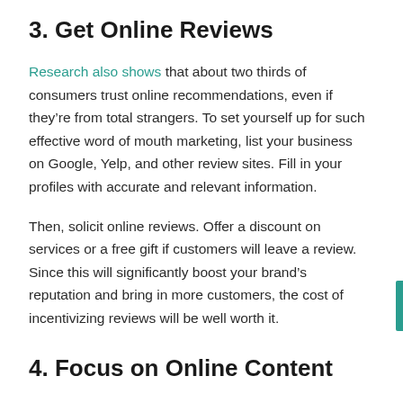3. Get Online Reviews
Research also shows that about two thirds of consumers trust online recommendations, even if they’re from total strangers. To set yourself up for such effective word of mouth marketing, list your business on Google, Yelp, and other review sites. Fill in your profiles with accurate and relevant information.
Then, solicit online reviews. Offer a discount on services or a free gift if customers will leave a review. Since this will significantly boost your brand’s reputation and bring in more customers, the cost of incentivizing reviews will be well worth it.
4. Focus on Online Content